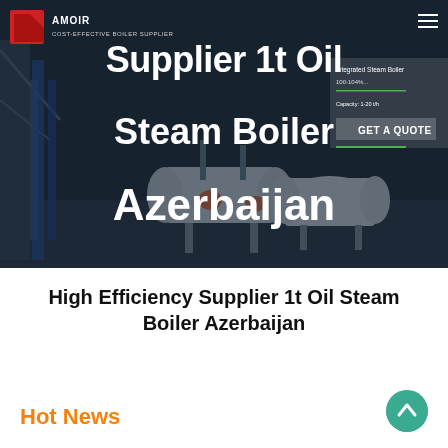[Figure (screenshot): Hero banner image showing industrial steam boilers in a facility with dark overlay. Contains logo text 'COST-EFFECTIVE BOILER SUPPLIER', navigation hamburger menu, and overlay text 'Supplier 1t Oil Steam Boiler Azerbaijan' in large white bold font. Also shows a right panel with 'GET A QUOTE' button and a green underline.]
High Efficiency Supplier 1t Oil Steam Boiler Azerbaijan
Hot News